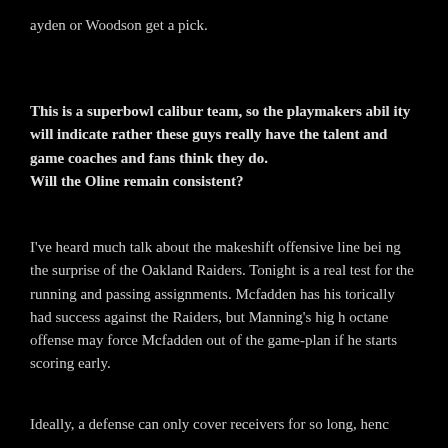ayden or Woodson get a pick.
This is a superbowl calibur team, so the playmakers ability will indicate rather these guys really have the talent and game coaches and fans think they do. Will the Oline remain consistent?
I've heard much talk about the makeshift offensive line being the surprise of the Oakland Raiders. Tonight is a real test for the running and passing assignments. Mcfadden has historically had success against the Raiders, but Manning's high octane offense may force Mcfadden out of the game-plan if he starts scoring early.
Ideally, a defense can only cover receivers for so long, henc